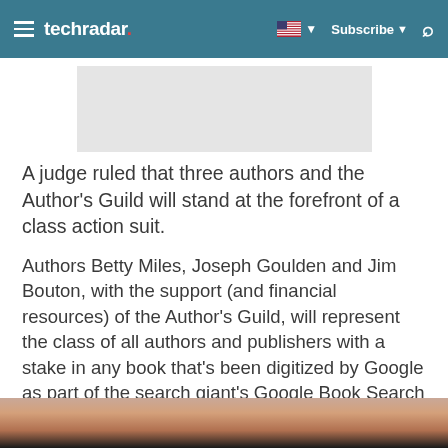techradar — Subscribe
[Figure (other): Advertisement placeholder banner (gray rectangle)]
A judge ruled that three authors and the Author's Guild will stand at the forefront of a class action suit.
Authors Betty Miles, Joseph Goulden and Jim Bouton, with the support (and financial resources) of the Author's Guild, will represent the class of all authors and publishers with a stake in any book that's been digitized by Google as part of the search giant's Google Book Search initiative.
Sponsored Links
[Figure (photo): Partial image of a hand/fingers visible at the bottom of the page against a dark background]